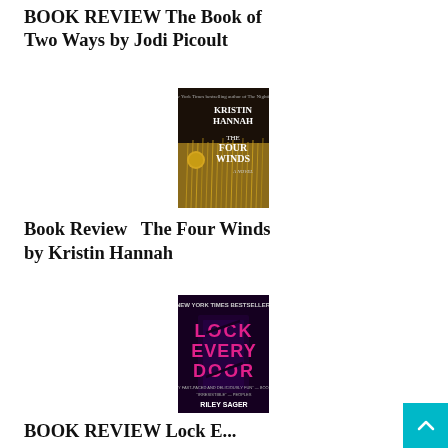BOOK REVIEW The Book of Two Ways by Jodi Picoult
[Figure (photo): Book cover of The Four Winds by Kristin Hannah, showing wheat stalks against dark background with gold circle accent]
Book Review   The Four Winds by Kristin Hannah
[Figure (photo): Book cover of Lock Every Door by Riley Sager, dark background with pink/magenta title text]
BOOK REVIEW  Lock E...